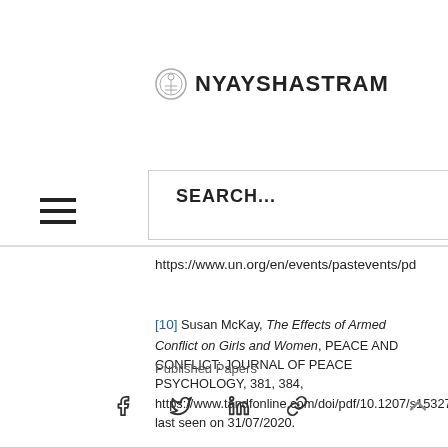[Figure (logo): NYAYSHASTRAM logo with emblem icon]
SEARCH...
https://www.un.org/en/events/pastevents/pdfs/Beijing_Declaration_and_Platform_for_Action.pdf, last seen on 31/07/2020.
[10] Susan McKay, The Effects of Armed Conflict on Girls and Women, PEACE AND CONFLICT: JOURNAL OF PEACE PSYCHOLOGY, 381, 384, https://www.tandfonline.com/doi/pdf/10.1207/s15327949pac0404_6, last seen on 31/07/2020.
Published Papers
[Figure (infographic): Social share icons: Facebook, Twitter, LinkedIn, link/chain icon, and up-arrow]